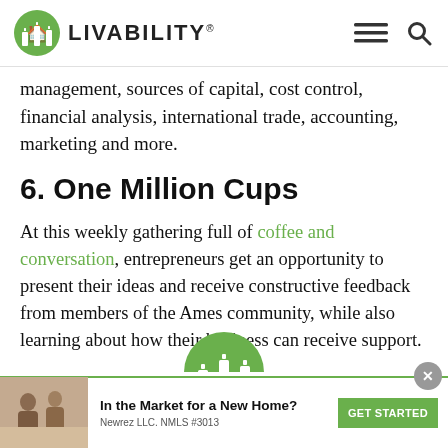LIVABILITY
management, sources of capital, cost control, financial analysis, international trade, accounting, marketing and more.
6. One Million Cups
At this weekly gathering full of coffee and conversation, entrepreneurs get an opportunity to present their ideas and receive constructive feedback from members of the Ames community, while also learning about how their business can receive support.
[Figure (logo): Partial Livability logo circle at bottom center of page]
In the Market for a New Home? Newrez LLC. NMLS #3013 GET STARTED